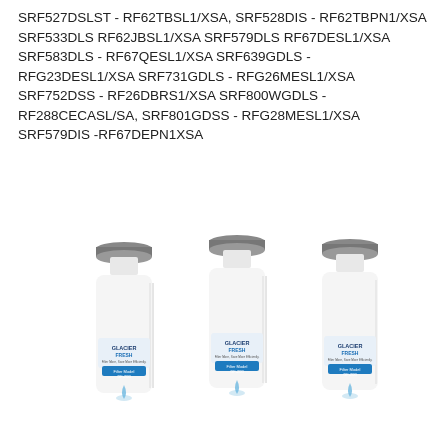SRF527DSLST - RF62TBSL1/XSA, SRF528DIS - RF62TBPN1/XSA SRF533DLS RF62JBSL1/XSA SRF579DLS RF67DESL1/XSA SRF583DLS - RF67QESL1/XSA SRF639GDLS - RFG23DESL1/XSA SRF731GDLS - RFG26MESL1/XSA SRF752DSS - RF26DBRS1/XSA SRF800WGDLS - RF288CECASL/SA, SRF801GDSS - RFG28MESL1/XSA SRF579DIS -RF67DEPN1XSA
[Figure (photo): Three white Glacier Fresh water filter cartridges (model GF-200) side by side, each with a black top cap, white cylindrical body with Glacier Fresh branding and blue label, and a water droplet graphic at the bottom.]